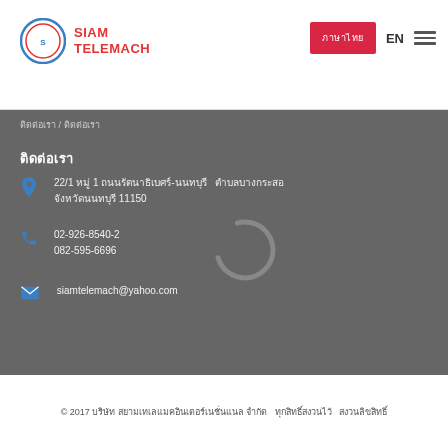SIAM TELEMACH | ภาษาไทย | EN
ติดต่อเรา
ติดต่อเรา
22/1 หมู่ 1 ถนนรัตนาธิเบศร์-นนทบุรี  ตำบลบางกระสอ จังหวัดนนทบุรี 11150
02-926-8540-2
082-595-6696
siamtelemach@yahoo.com
© 2017 บริษัท สยามเทเลแมคอินเตอร์เนชั่นแนล จำกัด